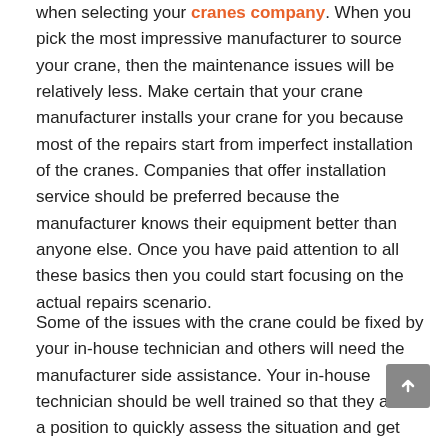when selecting your cranes company. When you pick the most impressive manufacturer to source your crane, then the maintenance issues will be relatively less. Make certain that your crane manufacturer installs your crane for you because most of the repairs start from imperfect installation of the cranes. Companies that offer installation service should be preferred because the manufacturer knows their equipment better than anyone else. Once you have paid attention to all these basics then you could start focusing on the actual repairs scenario.
Some of the issues with the crane could be fixed by your in-house technician and others will need the manufacturer side assistance. Your in-house technician should be well trained so that they are in a position to quickly assess the situation and get the manufacturer's support when it is really needed without trying to fix the issue on his own and making the situation worse.
Another proven way to keep the crane repairs costs low is to sign